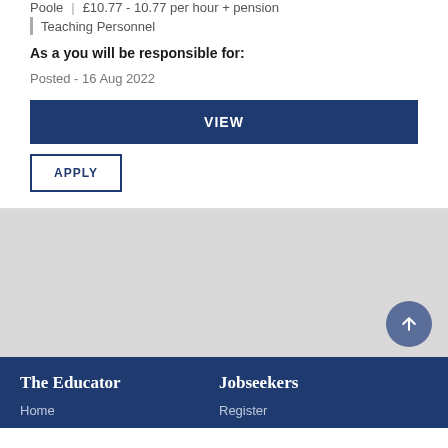Poole | £10.77 - 10.77 per hour + pension
Teaching Personnel
As a you will be responsible for:
Posted - 16 Aug 2022
VIEW
APPLY
The Educator
Jobseekers
Home
Register